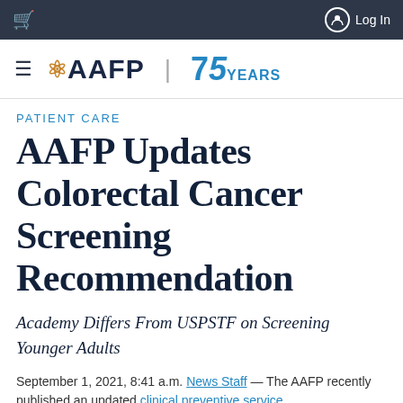AAFP | 75 YEARS — Log In
Patient Care
AAFP Updates Colorectal Cancer Screening Recommendation
Academy Differs From USPSTF on Screening Younger Adults
September 1, 2021, 8:41 a.m. News Staff — The AAFP recently published an updated clinical preventive service